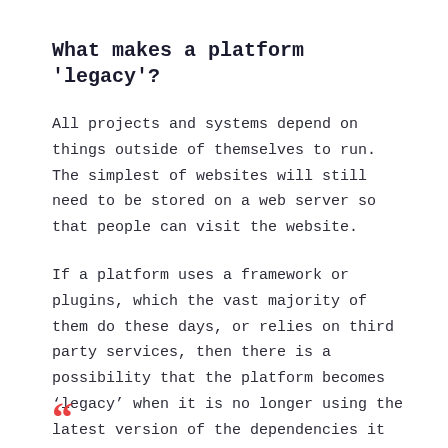What makes a platform 'legacy'?
All projects and systems depend on things outside of themselves to run. The simplest of websites will still need to be stored on a web server so that people can visit the website.
If a platform uses a framework or plugins, which the vast majority of them do these days, or relies on third party services, then there is a possibility that the platform becomes ‘legacy’ when it is no longer using the latest version of the dependencies it relies upon.